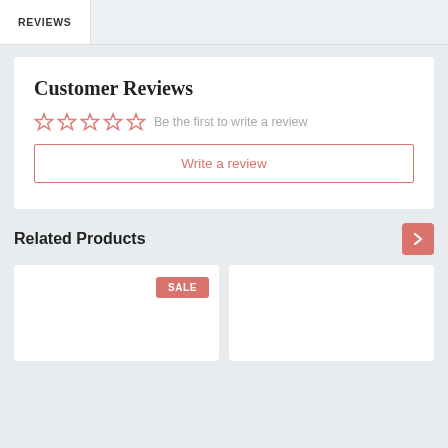REVIEWS
Customer Reviews
Be the first to write a review
Write a review
Related Products
[Figure (other): SALE badge on product card]
[Figure (other): Empty product card]